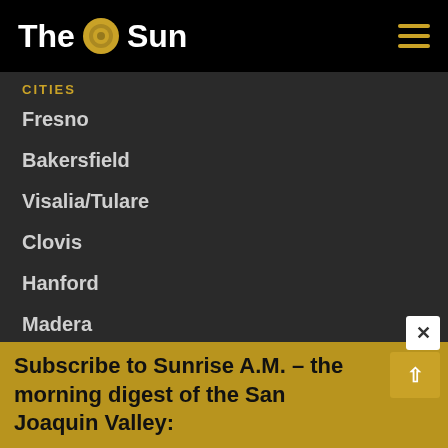The Sun
CITIES
Fresno
Bakersfield
Visalia/Tulare
Clovis
Hanford
Madera
Mariposa
Merced
Modesto
Stockton
Subscribe to Sunrise A.M. – the morning digest of the San Joaquin Valley: